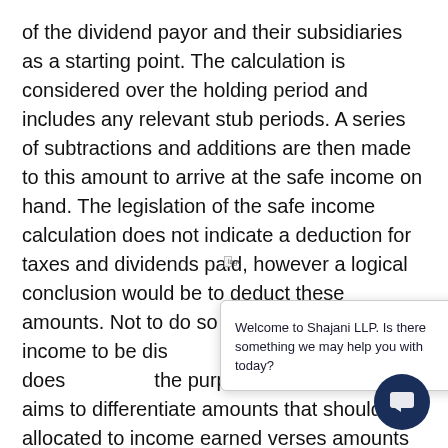of the dividend payor and their subsidiaries as a starting point. The calculation is considered over the holding period and includes any relevant stub periods. A series of subtractions and additions are then made to this amount to arrive at the safe income on hand. The legislation of the safe income calculation does not indicate a deduction for taxes and dividends paid, however a logical conclusion would be to deduct these amounts. Not to do so would re[sult in allowing] safe income to be dis[tributed in prior] years, and that does [not align with] the purpose of this le[gislation, which] aims to differentiate amounts that should be allocated to income earned verses amounts attributable to what would be capital gains, this division requires a calculation that is open to
Welcome to Shajani LLP. Is there something we may help you with today?